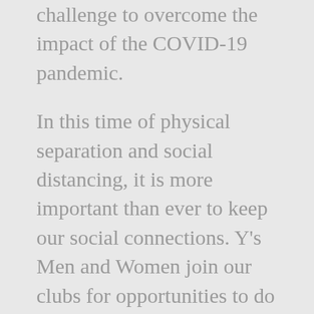challenge to overcome the impact of the COVID-19 pandemic.
In this time of physical separation and social distancing, it is more important than ever to keep our social connections. Y's Men and Women join our clubs for opportunities to do good in the community and they stay because of the connections they make. Our relationships are important – we need to continually strengthen the ones we have and to build new ones.
What might this look like in our